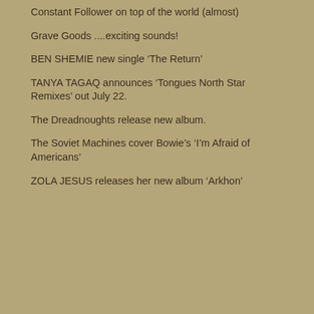Constant Follower on top of the world (almost)
Grave Goods ....exciting sounds!
BEN SHEMIE new single ‘The Return’
TANYA TAGAQ announces ‘Tongues North Star Remixes’ out July 22.
The Dreadnoughts release new album.
The Soviet Machines cover Bowie’s ‘I’m Afraid of Americans’
ZOLA JESUS releases her new album ‘Arkhon’